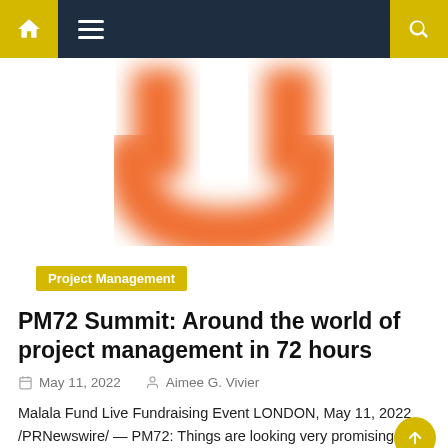Navigation bar with home, menu, and search icons
[Figure (logo): Orange blurred U-shaped logo on white background]
Project Management
PM72 Summit: Around the world of project management in 72 hours
May 11, 2022   Aimee G. Vivier
Malala Fund Live Fundraising Event LONDON, May 11, 2022 /PRNewswire/ — PM72: Things are looking very promising as Jexo finalizes its long-awaited speaker program for the